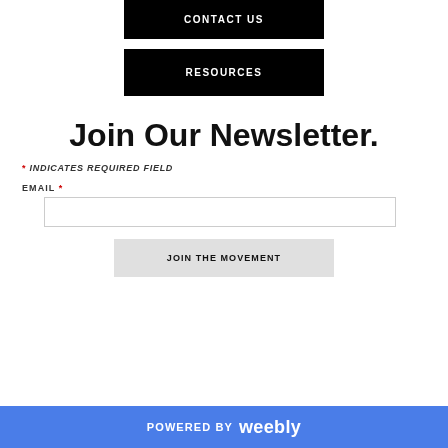CONTACT US
RESOURCES
Join Our Newsletter.
* INDICATES REQUIRED FIELD
EMAIL *
JOIN THE MOVEMENT
POWERED BY weebly